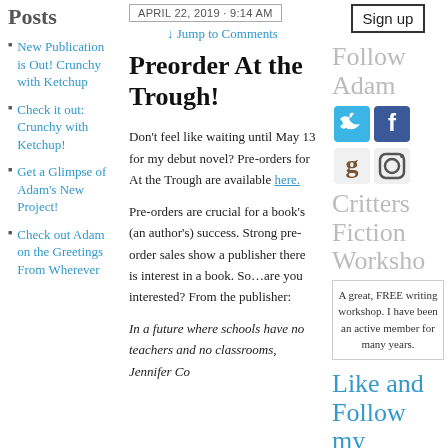Posts
New Publication is Out! Crunchy with Ketchup
Check it out: Crunchy with Ketchup!
Get a Glimpse of Adam's New Project!
Check out Adam on the Greetings From Wherever
APRIL 22, 2019 · 9:14 AM
↓ Jump to Comments
Preorder At the Trough!
Don't feel like waiting until May 13 for my debut novel? Pre-orders for At the Trough are available here.
Pre-orders are crucial for a book's (an author's) success. Strong pre-order sales show a publisher there is interest in a book. So…are you interested? From the publisher:
In a future where schools have no teachers and no classrooms, Jennifer Colden…
Sign up
Follow Adam
[Figure (illustration): Social media icons: Twitter (blue bird), Facebook (blue f), Goodreads (brown g), Instagram (camera)]
Critters Fiction Worksho
A great, FREE writing workshop. I have been an active member for many years.
Like and Follow my Faceboo